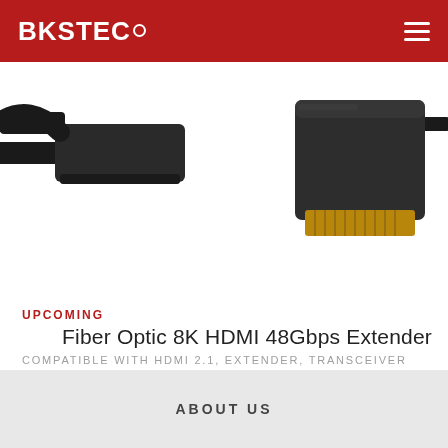BKSTEC
[Figure (photo): Close-up photo of fiber optic HDMI cable connectors on white background. Left side shows a flat black HDMI connector/plug. Right side shows a rectangular black module/transceiver with gold-plated HDMI connector pins visible at the bottom.]
UPCOMING
Fiber Optic 8K HDMI 48Gbps Extender
COMPATIBLE WITH HDMI 2.1, EXTENDER, TRANSCEIVER
ABOUT US